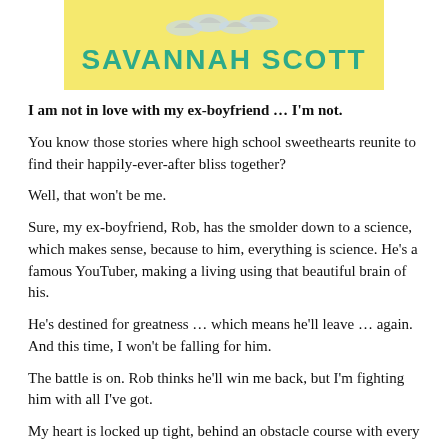[Figure (illustration): Book cover banner with author name 'SAVANNAH SCOTT' in teal/green on a yellow background, with decorative bird illustrations above the text.]
I am not in love with my ex-boyfriend … I'm not.
You know those stories where high school sweethearts reunite to find their happily-ever-after bliss together?
Well, that won't be me.
Sure, my ex-boyfriend, Rob, has the smolder down to a science, which makes sense, because to him, everything is science. He's a famous YouTuber, making a living using that beautiful brain of his.
He's destined for greatness … which means he'll leave … again. And this time, I won't be falling for him.
The battle is on. Rob thinks he'll win me back, but I'm fighting him with all I've got.
My heart is locked up tight, behind an obstacle course with every booby trap imaginable ….
Wouldn't you know it? Rob happens to be an expert at finding